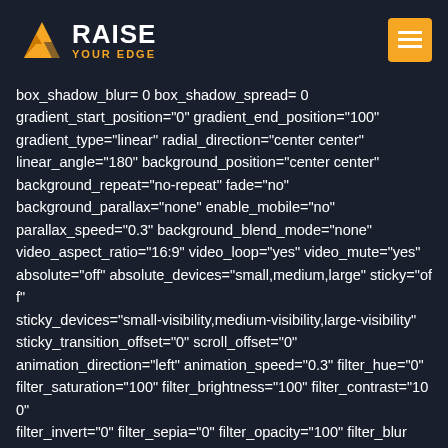RAISE YOUR EDGE
box_shadow_blur= 0 box_shadow_spread= 0 gradient_start_position="0" gradient_end_position="100" gradient_type="linear" radial_direction="center center" linear_angle="180" background_position="center center" background_repeat="no-repeat" fade="no" background_parallax="none" enable_mobile="no" parallax_speed="0.3" background_blend_mode="none" video_aspect_ratio="16:9" video_loop="yes" video_mute="yes" absolute="off" absolute_devices="small,medium,large" sticky="off" sticky_devices="small-visibility,medium-visibility,large-visibility" sticky_transition_offset="0" scroll_offset="0" animation_direction="left" animation_speed="0.3" filter_hue="0" filter_saturation="100" filter_brightness="100" filter_contrast="100" filter_invert="0" filter_sepia="0" filter_opacity="100" filter_blur="0" filter_hue_hover="0" filter_saturation_hover="100" filter_brightness_hover="100" filter_contrast_hover="100" filter_invert_hover="0" filter_sepia_hover="0" filter_opacity_hover="100" filter_blur_hover="0"][fusion_builder_...